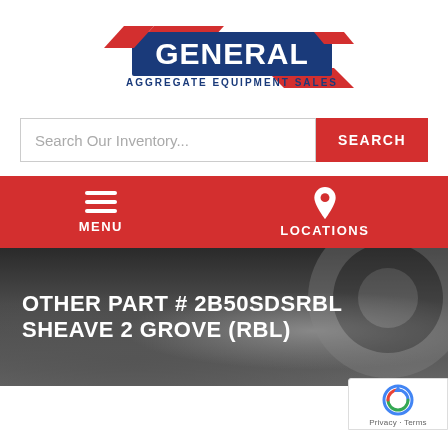[Figure (logo): General Aggregate Equipment Sales logo with red chevron/arrow shapes and dark blue bold GENERAL text with tagline AGGREGATE EQUIPMENT SALES]
[Figure (screenshot): Search bar with placeholder text 'Search Our Inventory...' and a red SEARCH button]
[Figure (screenshot): Red navigation bar with hamburger menu icon labeled MENU and location pin icon labeled LOCATIONS]
OTHER PART # 2B50SDSRBL SHEAVE 2 GROVE (RBL)
[Figure (photo): Dark hero background showing industrial/mining equipment with gravel or aggregate material, dark overlay]